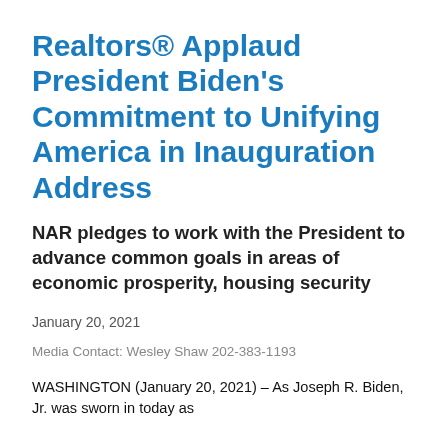Realtors® Applaud President Biden's Commitment to Unifying America in Inauguration Address
NAR pledges to work with the President to advance common goals in areas of economic prosperity, housing security
January 20, 2021
Media Contact: Wesley Shaw 202-383-1193
WASHINGTON (January 20, 2021) – As Joseph R. Biden, Jr. was sworn in today as